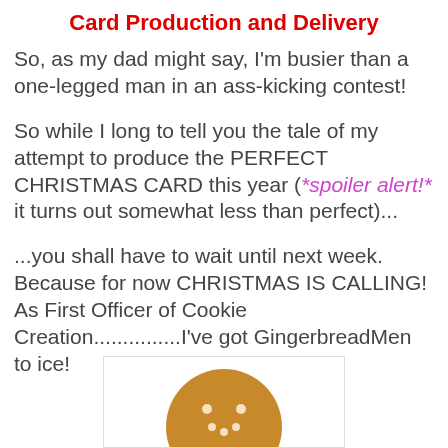Card Production and Delivery
So, as my dad might say, I'm busier than a one-legged man in an ass-kicking contest!
So while I long to tell you the tale of my attempt to produce the PERFECT CHRISTMAS CARD this year (*spoiler alert!* it turns out somewhat less than perfect)...
...you shall have to wait until next week. Because for now CHRISTMAS IS CALLING! As First Officer of Cookie Creation...............I've got GingerbreadMen to ice!
[Figure (illustration): Gingerbread man cookie illustration, round head visible at bottom of page, brown with white button dots and smile details]